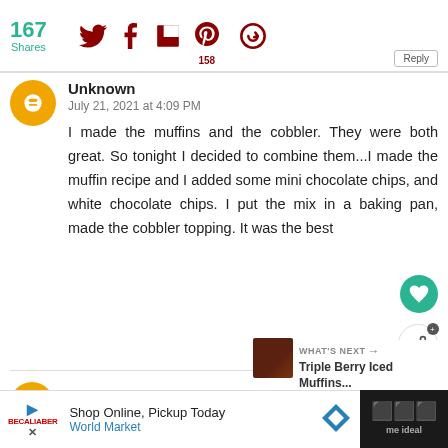167 Shares | Twitter | Facebook | Flipboard | Pinterest 158 | Other
Unknown
July 21, 2021 at 4:09 PM

I made the muffins and the cobbler. They were both great. So tonight I decided to combine them...I made the muffin recipe and I added some mini chocolate chips, and white chocolate chips. I put the mix in a baking pan, made the cobbler topping. It was the best
Whats Cookin Italian Style Cuisine
Shop Online, Pickup Today
World Market